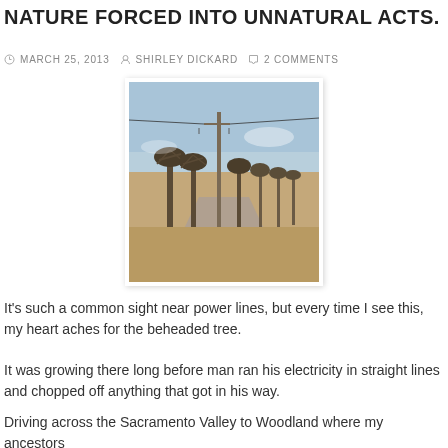NATURE FORCED INTO UNNATURAL ACTS.
MARCH 25, 2013   SHIRLEY DICKARD   2 COMMENTS
[Figure (photo): A row of bare winter trees severely topped/pollarded along a rural road, with a utility pole visible among them. Dry brown field visible in the background under a blue sky.]
It's such a common sight near power lines, but every time I see this, my heart aches for the beheaded tree.
It was growing there long before man ran his electricity in straight lines and chopped off anything that got in his way.
Driving across the Sacramento Valley to Woodland where my ancestors settled during the Gold Rush, I took lots of photos...